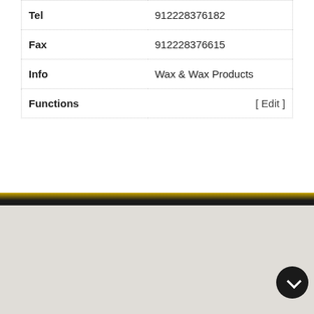| Tel | 912228376182 |
| Fax | 912228376615 |
| Info | Wax & Wax Products |
| Functions | [ Edit ] |
Disclaimer: The information displayed here are from databases and or are provided by the contact person / companies themselves. NPCS takes no responsibility to the authentication and verification of this information.